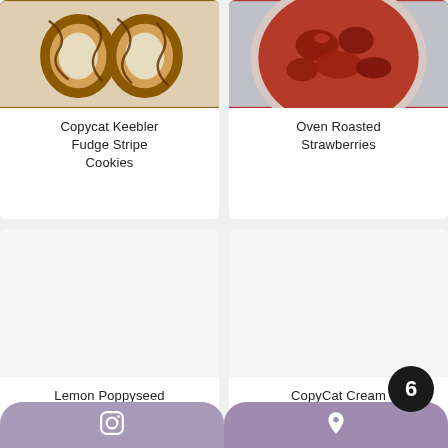[Figure (photo): Chocolate drizzled cookies shaped like numbers on parchment paper (top-left card)]
Copycat Keebler Fudge Stripe Cookies
[Figure (photo): Oven roasted strawberries in a jar/bowl (top-right card)]
Oven Roasted Strawberries
[Figure (photo): Blank/white image area for Lemon Poppyseed card (bottom-left)]
Lemon Poppyseed
[Figure (photo): Blank/white image area for CopyCat Cream card (bottom-right)]
CopyCat Cream